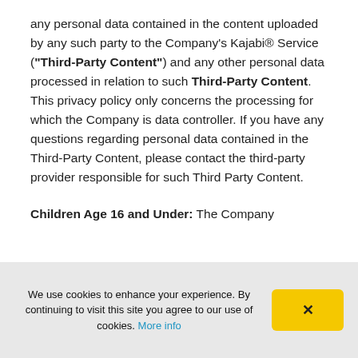any personal data contained in the content uploaded by any such party to the Company's Kajabi® Service ("Third-Party Content") and any other personal data processed in relation to such Third-Party Content. This privacy policy only concerns the processing for which the Company is data controller. If you have any questions regarding personal data contained in the Third-Party Content, please contact the third-party provider responsible for such Third Party Content.
Children Age 16 and Under: The Company
We use cookies to enhance your experience. By continuing to visit this site you agree to our use of cookies. More info